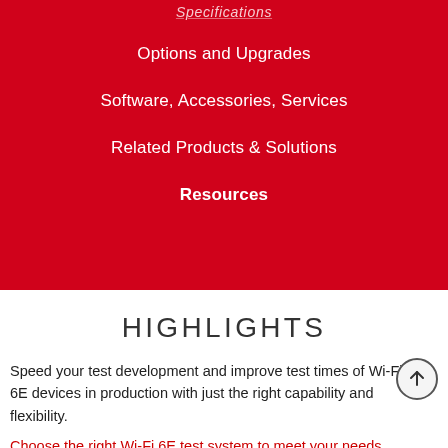Specifications
Options and Upgrades
Software, Accessories, Services
Related Products & Solutions
Resources
HIGHLIGHTS
Speed your test development and improve test times of Wi-Fi 6E devices in production with just the right capability and flexibility.
Choose the right Wi-Fi 6E test system to meet your needs.